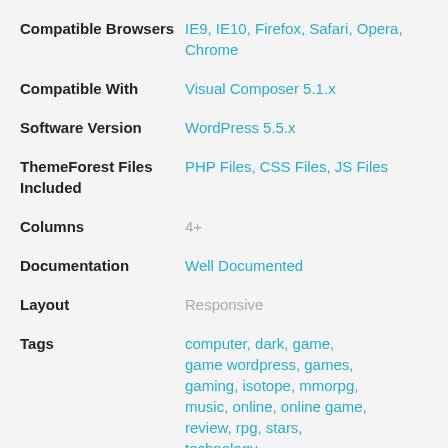Compatible Browsers: IE9, IE10, Firefox, Safari, Opera, Chrome
Compatible With: Visual Composer 5.1.x
Software Version: WordPress 5.5.x
ThemeForest Files Included: PHP Files, CSS Files, JS Files
Columns: 4+
Documentation: Well Documented
Layout: Responsive
Tags: computer, dark, game, game wordpress, games, gaming, isotope, mmorpg, music, online, online game, review, rpg, stars, technology